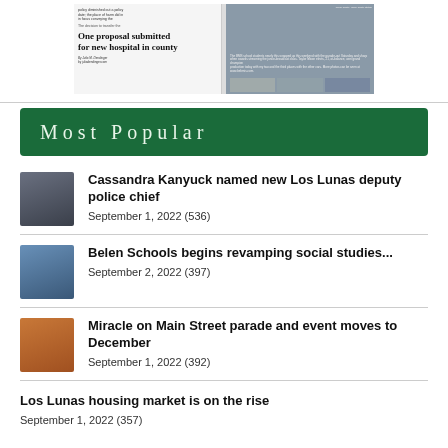[Figure (screenshot): Newspaper front page showing headline 'One proposal submitted for new hospital in county' with accompanying photos]
Most Popular
Cassandra Kanyuck named new Los Lunas deputy police chief
September 1, 2022 (536)
Belen Schools begins revamping social studies...
September 2, 2022 (397)
Miracle on Main Street parade and event moves to December
September 1, 2022 (392)
Los Lunas housing market is on the rise
September 1, 2022 (357)